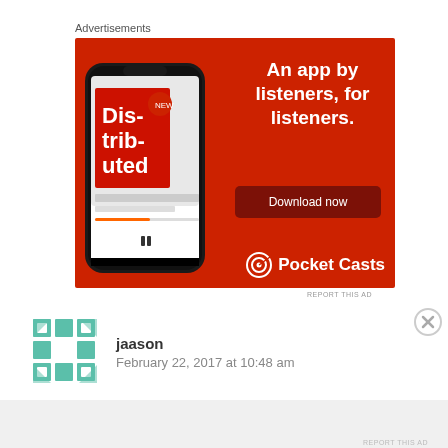Advertisements
[Figure (photo): Pocket Casts advertisement showing a smartphone with the Pocket Casts app open displaying a podcast called 'Distributed', with text 'An app by listeners, for listeners.' and a 'Download now' button on a red background, with Pocket Casts logo at bottom right.]
REPORT THIS AD
jaason
February 22, 2017 at 10:48 am
Advertisements
REPORT THIS AD